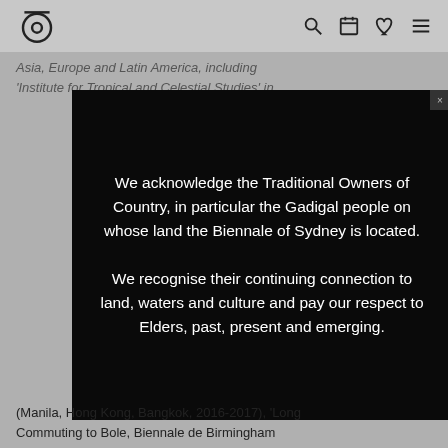[Biennale of Sydney logo] [search icon] [calendar icon] [heart icon] [menu icon]
Asia, Europe and Latin America, including 'Institute for Tropical and Celestial Studies' in
We acknowledge the Traditional Owners of Country, in particular the Gadigal people on whose land the Biennale of Sydney is located.

We recognise their continuing connection to land, waters and culture and pay our respect to Elders, past, present and emerging.
(Manila, Hong Kong, Bangkok, 2016-2017), 'Long Commuting to Bole, Biennale de Birmingham
[Figure (logo): Biennale of Sydney eye logo — a stylized eye with bar above]